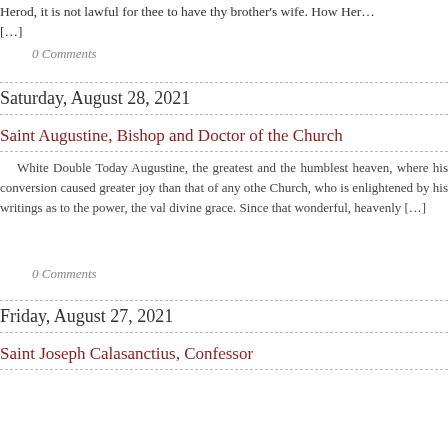Herod, it is not lawful for thee to have thy brother's wife. How Her… […]
0 Comments
Saturday, August 28, 2021
Saint Augustine, Bishop and Doctor of the Church
White Double Today Augustine, the greatest and the humblest heaven, where his conversion caused greater joy than that of any othe Church, who is enlightened by his writings as to the power, the val divine grace. Since that wonderful, heavenly […]
0 Comments
Friday, August 27, 2021
Saint Joseph Calasanctius, Confessor